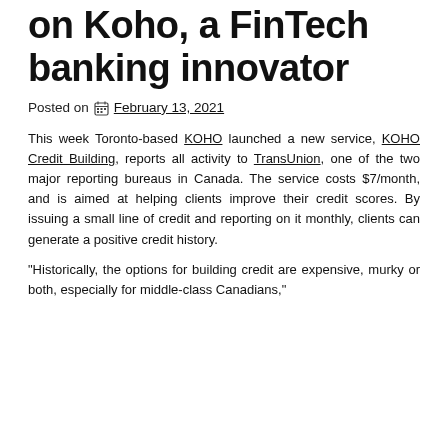on Koho, a FinTech banking innovator
Posted on February 13, 2021
This week Toronto-based KOHO launched a new service, KOHO Credit Building, reports all activity to TransUnion, one of the two major reporting bureaus in Canada. The service costs $7/month, and is aimed at helping clients improve their credit scores. By issuing a small line of credit and reporting on it monthly, clients can generate a positive credit history.
“Historically, the options for building credit are expensive, murky or both, especially for middle-class Canadians,”